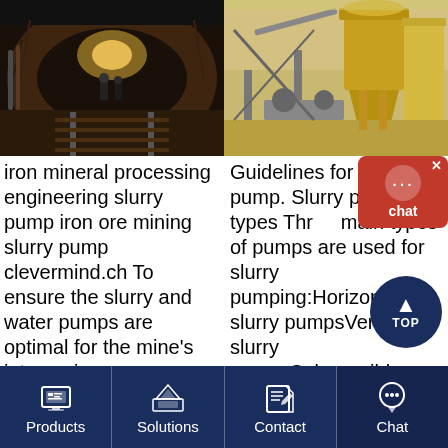[Figure (photo): Underground mine tunnel with workers and lighting]
[Figure (photo): Industrial mining/processing equipment and machinery outdoors]
iron mineral processing engineering slurry pump iron ore mining slurry pump clevermind.ch To ensure the slurry and water pumps are optimal for the mine's intense iron ore extraction and wet processing practices, a team from KSB relied on its engineering expertise and GIW's
Guidelines for slurry pump. Slurry pump types Three main types of pumps are used for slurry pumping:Horizontal slurry pumpsVertical slurry pumpsSubmersible slurry pumps. Horizontal slurry pumps These types of pumps are often called dry mounted as the end and
[Figure (other): Chat support bubble overlay with close X button and three dots icon]
[Figure (other): Back to top circular button with arrow and TOP text]
Products | Solutions | Contact | Chat